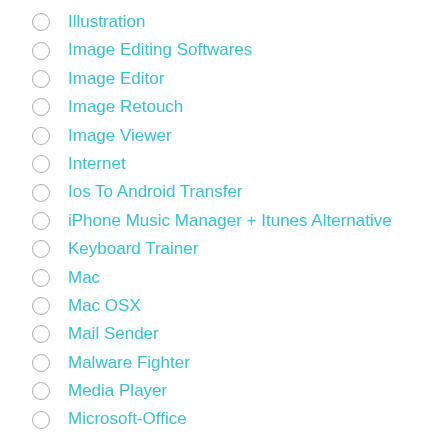Illustration
Image Editing Softwares
Image Editor
Image Retouch
Image Viewer
Internet
Ios To Android Transfer
iPhone Music Manager + Itunes Alternative
Keyboard Trainer
Mac
Mac OSX
Mail Sender
Malware Fighter
Media Player
Microsoft-Office